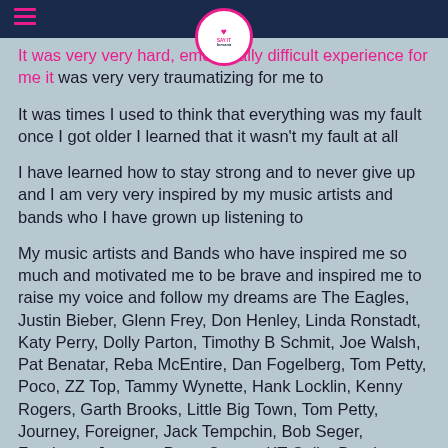Say It Forsana - header with hamburger menu and logo
It was very very hard, emotionally difficult experience for me it was very very traumatizing for me to
It was times I used to think that everything was my fault once I got older I learned that it wasn't my fault at all
I have learned how to stay strong and to never give up and I am very very inspired by my music artists and bands who I have grown up listening to
My music artists and Bands who have inspired me so much and motivated me to be brave and inspired me to raise my voice and follow my dreams are The Eagles, Justin Bieber, Glenn Frey, Don Henley, Linda Ronstadt, Katy Perry, Dolly Parton, Timothy B Schmit, Joe Walsh, Pat Benatar, Reba McEntire, Dan Fogelberg, Tom Petty, Poco, ZZ Top, Tammy Wynette, Hank Locklin, Kenny Rogers, Garth Brooks, Little Big Town, Tom Petty, Journey, Foreigner, Jack Tempchin, Bob Seger, Foreigner, Journey, Peter Cetera, KT Oslin, Demi Lovato, Van Halen, The Doobie Brothers